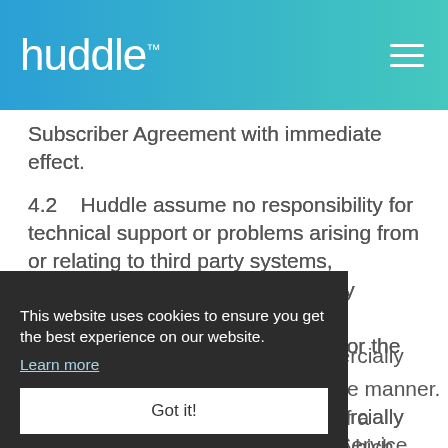huddle
Subscriber Agreement with immediate effect.
4.2    Huddle assume no responsibility for technical support or problems arising from or relating to third party systems, equipment owned or maintained by Subscriber or any Users, or the administration of email addresses or the email account of any User.
4.3    Huddle agree to take commercially reasonable steps to maintain the Service in a secure manner. If a security vulnerability is identified which Huddle believes may compromise the integrity of Content stored by Huddle, the relevant Users may be affected and Huddle shall use efforts to notify them of the vulnerability and any related
This website uses cookies to ensure you get the best experience on our website.
Learn more
Got it!